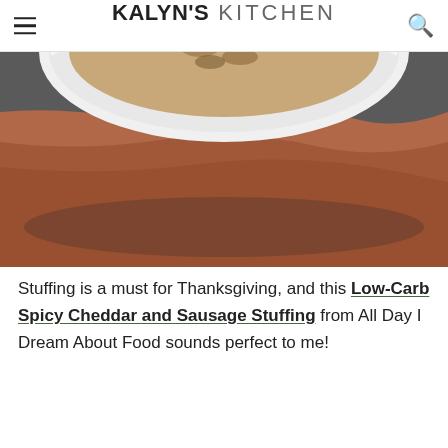KALYN'S KITCHEN
[Figure (photo): Top-down partial view of a white bowl containing a mixed stuffing dish, placed on a terracotta/rust-colored linen cloth against a dark gray surface.]
Stuffing is a must for Thanksgiving, and this Low-Carb Spicy Cheddar and Sausage Stuffing from All Day I Dream About Food sounds perfect to me!